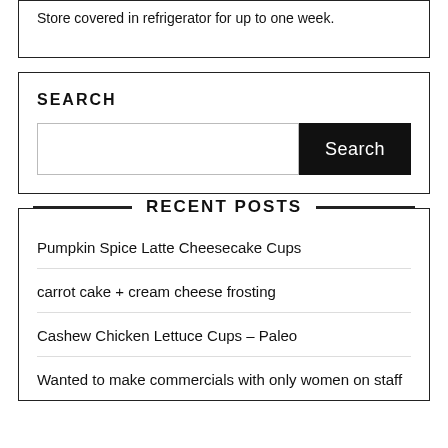Store covered in refrigerator for up to one week.
SEARCH
Search
RECENT POSTS
Pumpkin Spice Latte Cheesecake Cups
carrot cake + cream cheese frosting
Cashew Chicken Lettuce Cups – Paleo
Wanted to make commercials with only women on staff